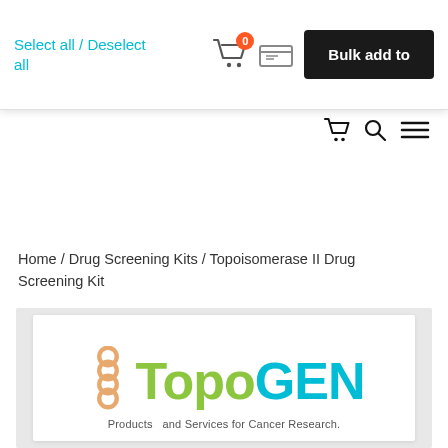Select all / Deselect all  [cart icon with 0]  [card icon]  Bulk add to
[Figure (screenshot): Navigation icons: shopping cart, search magnifier, and hamburger menu]
Home / Drug Screening Kits / Topoisomerase II Drug Screening Kit
[Figure (photo): Product image showing TopoGEN branding - logo reads 'TopoGEN' in green and cyan with small chain-link icon, tagline reads 'Products and Services for Cancer Research.']